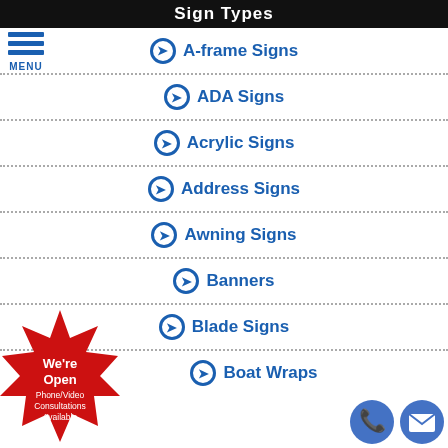Sign Types
A-frame Signs
ADA Signs
Acrylic Signs
Address Signs
Awning Signs
Banners
Blade Signs
Boat Wraps
[Figure (illustration): Red starburst badge with text: We're Open Phone/Video Consultations Available]
[Figure (illustration): Blue circle phone icon and blue circle email/envelope icon]